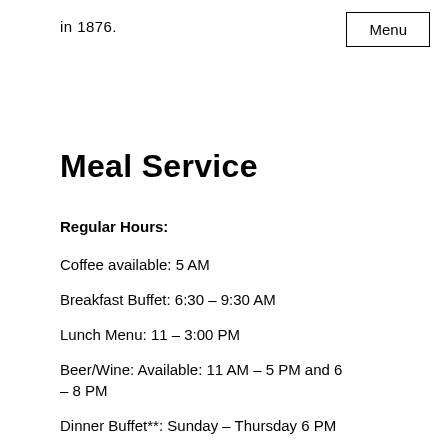in 1876.
Menu
Meal Service
Regular Hours:
Coffee available: 5 AM
Breakfast Buffet: 6:30 – 9:30 AM
Lunch Menu: 11 – 3:00 PM
Beer/Wine: Available: 11 AM – 5 PM and 6 – 8 PM
Dinner Buffet**: Sunday – Thursday 6 PM
Close (Friday & Saturday – 8 PM)